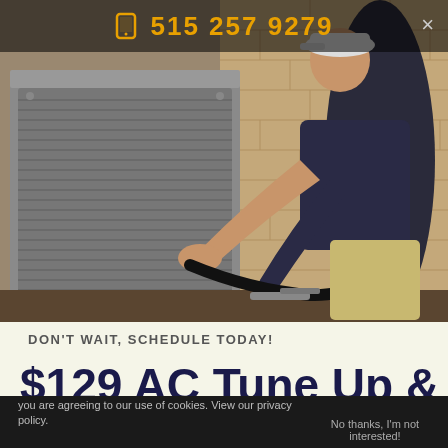515 257 9279
[Figure (photo): HVAC technician in a dark polo shirt and cap kneeling beside an outdoor air conditioning unit against a brick wall, working on refrigerant lines]
DON'T WAIT, SCHEDULE TODAY!
$129 AC Tune Up &
you are agreeing to our use of cookies. View our privacy policy.
No thanks, I'm not interested!